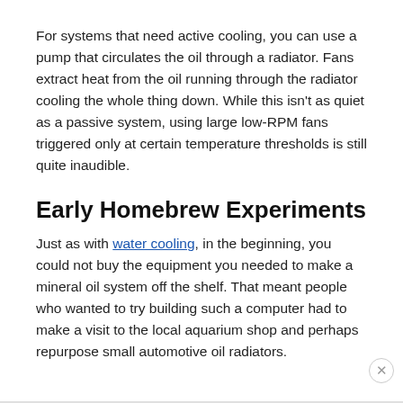For systems that need active cooling, you can use a pump that circulates the oil through a radiator. Fans extract heat from the oil running through the radiator cooling the whole thing down. While this isn't as quiet as a passive system, using large low-RPM fans triggered only at certain temperature thresholds is still quite inaudible.
Early Homebrew Experiments
Just as with water cooling, in the beginning, you could not buy the equipment you needed to make a mineral oil system off the shelf. That meant people who wanted to try building such a computer had to make a visit to the local aquarium shop and perhaps repurpose small automotive oil radiators.